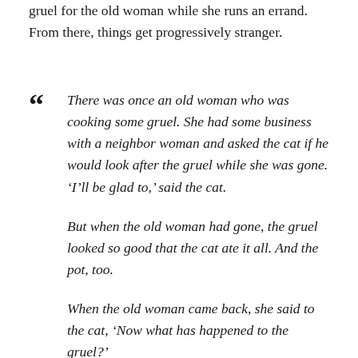gruel for the old woman while she runs an errand. From there, things get progressively stranger.
There was once an old woman who was cooking some gruel. She had some business with a neighbor woman and asked the cat if he would look after the gruel while she was gone. 'I'll be glad to,' said the cat.

But when the old woman had gone, the gruel looked so good that the cat ate it all. And the pot, too.

When the old woman came back, she said to the cat, 'Now what has happened to the gruel?'